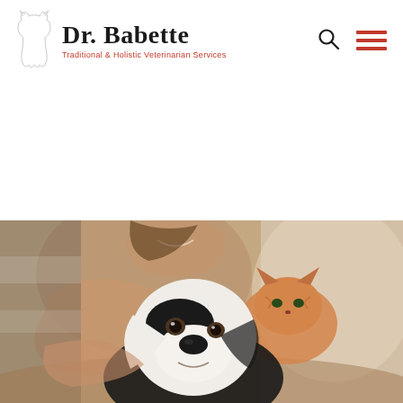Dr. Babette — Traditional & Holistic Veterinarian Services
[Figure (photo): A woman smiling with a black and white dog in the foreground and an orange cat in the background, sitting on a couch in a warm indoor setting.]